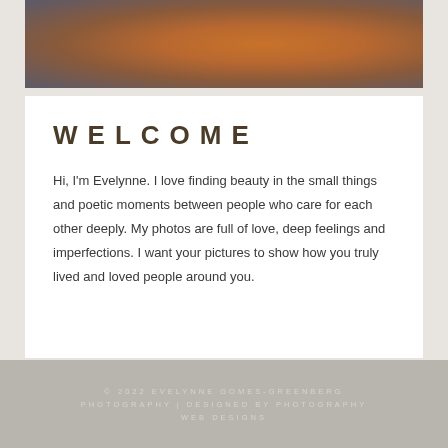[Figure (photo): Partial photo of a person wearing a rust/terracotta colored long-sleeve shirt against a gray background]
WELCOME
Hi, I'm Evelynne. I love finding beauty in the small things and poetic moments between people who care for each other deeply. My photos are full of love, deep feelings and imperfections. I want your pictures to show how you truly lived and loved people around you.
© 2022 EVELYNNE GOMES-GREENBERG PHOTOGRAPHY | DESIGNED BY PHOTOGRAPHY WEB DESIGNS